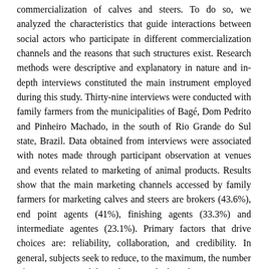commercialization of calves and steers. To do so, we analyzed the characteristics that guide interactions between social actors who participate in different commercialization channels and the reasons that such structures exist. Research methods were descriptive and explanatory in nature and in-depth interviews constituted the main instrument employed during this study. Thirty-nine interviews were conducted with family farmers from the municipalities of Bagé, Dom Pedrito and Pinheiro Machado, in the south of Rio Grande do Sul state, Brazil. Data obtained from interviews were associated with notes made through participant observation at venues and events related to marketing of animal products. Results show that the main marketing channels accessed by family farmers for marketing calves and steers are brokers (43.6%), end point agents (41%), finishing agents (33.3%) and intermediate agentes (23.1%). Primary factors that drive choices are: reliability, collaboration, and credibility. In general, subjects seek to reduce, to the maximum, the number of uncertainties and dependencies, which explains